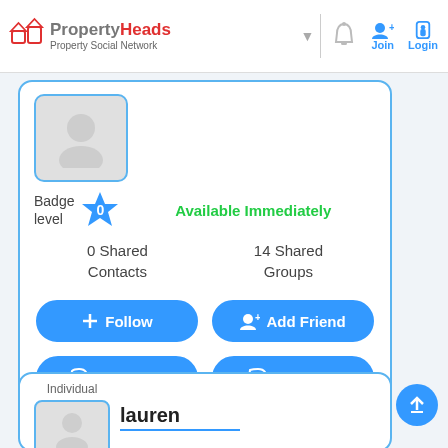PropertyHeads — Property Social Network | Join | Login
[Figure (screenshot): User profile card with avatar placeholder, badge level star (0), Available Immediately label, 0 Shared Contacts, 14 Shared Groups, Follow, Add Friend, No phone, Message buttons]
Badge level 0
Available Immediately
0 Shared Contacts
14 Shared Groups
+ Follow
Add Friend
No phone
Message
Individual
lauren